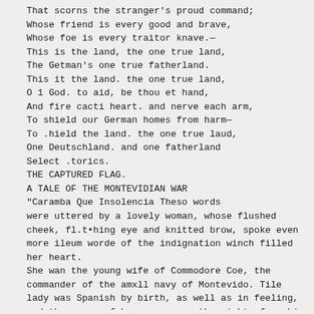That scorns the stranger's proud command;
Whose friend is every good and brave,
Whose foe is every traitor knave.—
This is the land, the one true land,
The Getman's one true fatherland.
This it the land. the one true land,
O 1 God. to aid, be thou et hand,
And fire cacti heart. and nerve each arm,
To shield our German homes from harm—
To .hield the land. the one true laud,
One Deutschland. and one fatherland
Select .torics.
THE CAPTURED FLAG.
A TALE OF THE MONTEVIDIAN WAR
"Caramba Que Insolencia Theso words were uttered by a lovely woman, whose flushed cheek, fl.t•hing eye and knitted brow, spoke even more ileum worde of the indignation winch filled her heart.
She wan the young wife of Commodore Coe, the commander of the amxll navy of Montevido. Tile lady was Spanish by birth, as well as in feeling, and the c u-c of her anger was the sight of a ship which had been for two days standing off and on